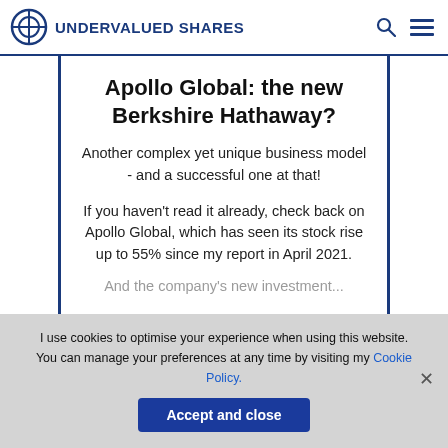UNDERVALUED SHARES
Apollo Global: the new Berkshire Hathaway?
Another complex yet unique business model - and a successful one at that!
If you haven't read it already, check back on Apollo Global, which has seen its stock rise up to 55% since my report in April 2021.
And the company's new investment...
I use cookies to optimise your experience when using this website. You can manage your preferences at any time by visiting my Cookie Policy.